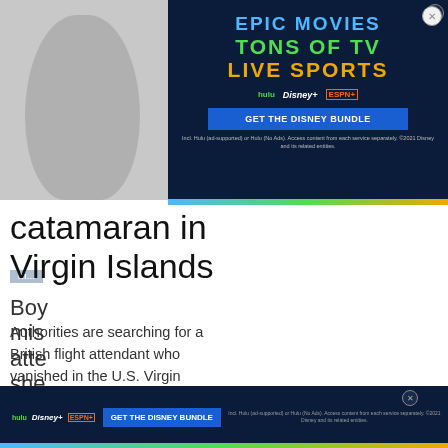[Figure (screenshot): Advertisement banner for Disney Bundle (Hulu + Disney+ + ESPN+). Dark navy background with text: EPIC MOVIES in blue, TONS OF TV in green, LIVE SPORTS in orange/gold. Shows Hulu, Disney+, ESPN+ logos and GET THE DISNEY BUNDLE button. Fine print: Incl. Hulu (ad-supported) or Hulu (No Ads). Access content from each service separately. ©2021 Disney and its related entities.]
[Figure (photo): Partial photo of a person on the left side of page, mostly obscured by advertisement.]
catamaran in Virgin Islands
Authorities are searching for a British flight attendant who vanished in the U.S. Virgin Islands on Sunday or early
[Figure (screenshot): Bottom advertisement bar for Disney Bundle: hulu Disney+ ESPN+ logos and GET THE DISNEY BUNDLE button. Fine print: Incl. Hulu (ad-supported) or Hulu (No Ads). Access content from each service separately. ©2021 Disney and its related entities.]